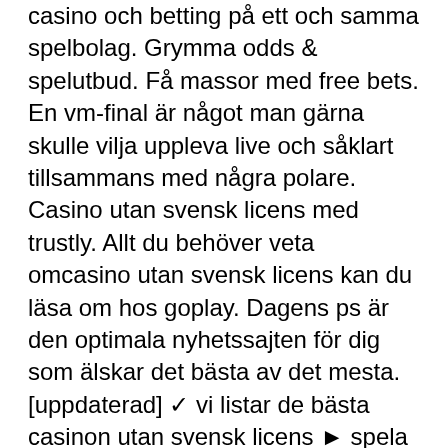casino och betting på ett och samma spelbolag. Grymma odds &amp; spelutbud. Få massor med free bets. En vm-final är något man gärna skulle vilja uppleva live och såklart tillsammans med några polare. Casino utan svensk licens med trustly. Allt du behöver veta omcasino utan svensk licens kan du läsa om hos goplay. Dagens ps är den optimala nyhetssajten för dig som älskar det bästa av det mesta. [uppdaterad] ✓ vi listar de bästa casinon utan svensk licens ► spela trots spelpaus med trustly, bankid eller zimpler ». [uppdaterad idag] populära casinon utan svensk licens ► spela casino med zimpler &amp; bankid ✓ massa casinospel ✓ utan spelpaus Big wins, Huge Jackpot and gorgeous graphics will give you the best casino slots game experience. THE GRANDEST AND BEST SELECTION OF CASINO